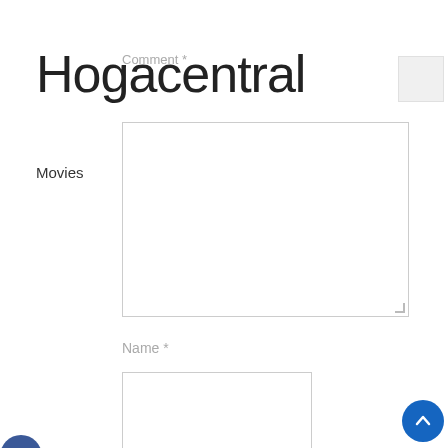Hogacentral
Comment *
Movies
Name *
Email *
Website